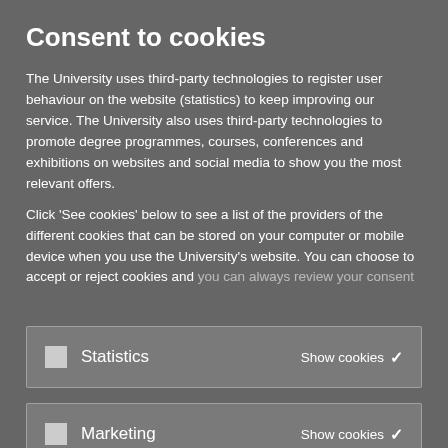Consent to cookies
The University uses third-party technologies to register user behaviour on the website (statistics) to keep improving our service. The University also uses third-party technologies to promote degree programmes, courses, conferences and exhibitions on websites and social media to show you the most relevant offers.
Click 'See cookies' below to see a list of the providers of the different cookies that can be stored on your computer or mobile device when you use the University's website. You can choose to accept or reject cookies and you can always review your consent
Statistics    Show cookies
Marketing    Show cookies